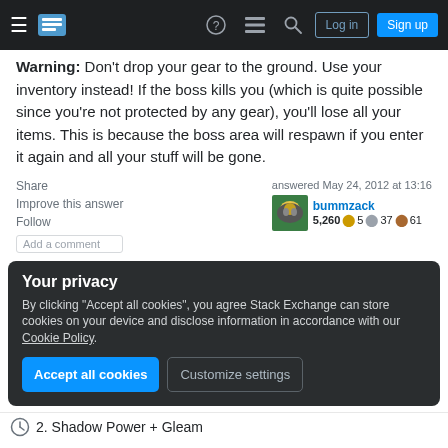Navigation bar with hamburger menu, Stack Exchange logo, help, chat, search icons, Log in and Sign up buttons
Warning: Don't drop your gear to the ground. Use your inventory instead! If the boss kills you (which is quite possible since you're not protected by any gear), you'll lose all your items. This is because the boss area will respawn if you enter it again and all your stuff will be gone.
Share
Improve this answer
Follow
Add a comment
answered May 24, 2012 at 13:16
bummzack
5,260 5 37 61
Your privacy
By clicking "Accept all cookies", you agree Stack Exchange can store cookies on your device and disclose information in accordance with our Cookie Policy.
Accept all cookies   Customize settings
2. Shadow Power + Gleam